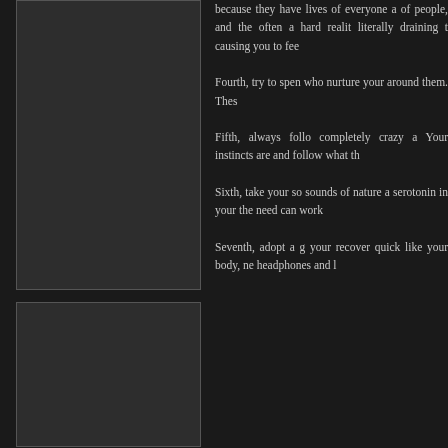[Figure (photo): Dark rectangular image placeholder, top left area]
[Figure (photo): Dark rectangular image placeholder, bottom left area]
because they have lives of everyone a of people, and the often a hard realit literally draining t causing you to fee
Fourth, try to spen who nurture your around them. Thes
Fifth, always follo completely crazy a Your instincts are and follow what th
Sixth, take your so sounds of nature a serotonin in your the need can work
Seventh, adopt a g your recover quick like your body, ne headphones and l